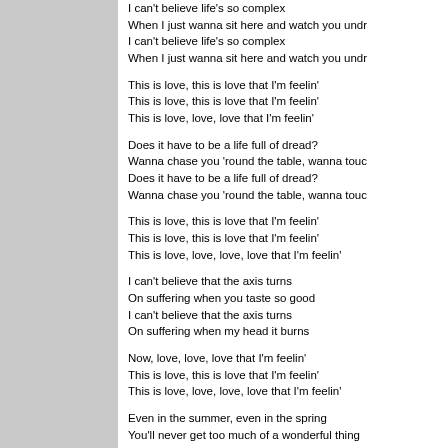I can't believe life's so complex
When I just wanna sit here and watch you undr
I can't believe life's so complex
When I just wanna sit here and watch you undr
This is love, this is love that I'm feelin'
This is love, this is love that I'm feelin'
This is love, love, love that I'm feelin'
Does it have to be a life full of dread?
Wanna chase you 'round the table, wanna touc
Does it have to be a life full of dread?
Wanna chase you 'round the table, wanna touc
This is love, this is love that I'm feelin'
This is love, this is love that I'm feelin'
This is love, love, love, love that I'm feelin'
I can't believe that the axis turns
On suffering when you taste so good
I can't believe that the axis turns
On suffering when my head it burns
Now, love, love, love that I'm feelin'
This is love, this is love that I'm feelin'
This is love, love, love, love that I'm feelin'
Even in the summer, even in the spring
You'll never get too much of a wonderful thing
You're the only story that I've never told